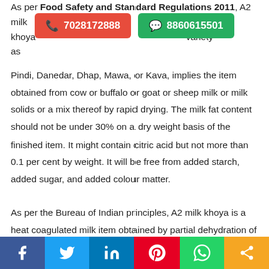As per Food Safety and Standard Regulations 2011, A2 milk khoya variety known as Pindi, Danedar, Dhap, Mawa, or Kava, implies the item obtained from cow or buffalo or goat or sheep milk or milk solids or a mix thereof by rapid drying. The milk fat content should not be under 30% on a dry weight basis of the finished item. It might contain citric acid but not more than 0.1 per cent by weight. It will be free from added starch, added sugar, and added colour matter.
As per the Bureau of Indian principles, A2 milk khoya is a heat coagulated milk item obtained by partial dehydration of milk of buffalo, cow, sheep, and goat or their admixture. A2 milk of these animals will not contain any ingredient